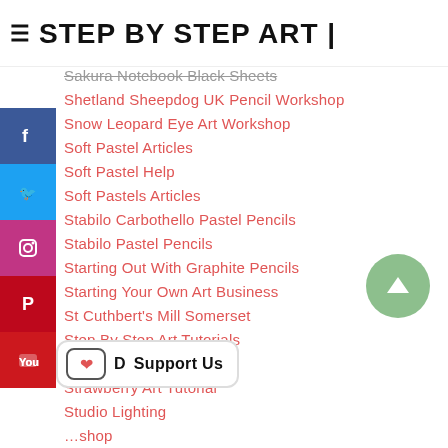≡ STEP BY STEP ART |
Sakura Notebook Black Sheets
Shetland Sheepdog UK Pencil Workshop
Snow Leopard Eye Art Workshop
Soft Pastel Articles
Soft Pastel Help
Soft Pastels Articles
Stabilo Carbothello Pastel Pencils
Stabilo Pastel Pencils
Starting Out With Graphite Pencils
Starting Your Own Art Business
St Cuthbert's Mill Somerset
Step By Step Art Tutorials
Stonehenge Black
Strawberry Art Tutorial
Studio Lighting
...shop
Tortillions